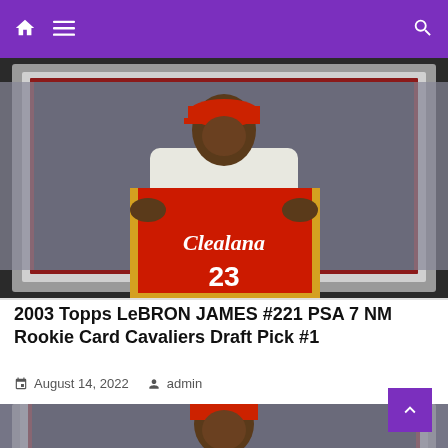Navigation bar with home, menu, and search icons
[Figure (photo): PSA graded card of LeBron James holding a Cleveland Cavaliers #23 jersey, wearing a white suit and red cap, shown in a graded card case with gray border]
2003 Topps LeBRON JAMES #221 PSA 7 NM Rookie Card Cavaliers Draft Pick #1
August 14, 2022  admin
[Figure (photo): Partial view of same or similar LeBron James draft photo in a graded card, showing upper body with red cap and white suit]